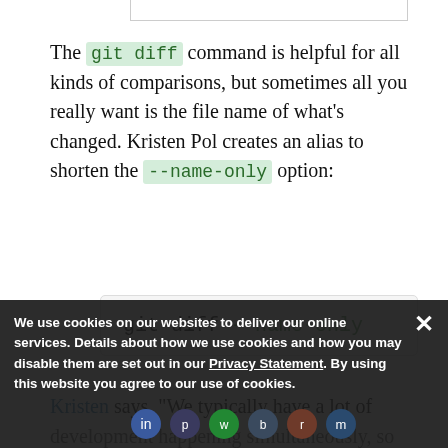The git diff command is helpful for all kinds of comparisons, but sometimes all you really want is the file name of what's changed. Kristen Pol creates an alias to shorten the --name-only option:
git diff --name-only
Kristen says, "We typically have a lot of development happening simultaneously, so knowing the most recent commit across all branches is handy." It worked Kristen!
We use cookies on our websites to deliver our online services. Details about how we use cookies and how you may disable them are set out in our Privacy Statement. By using this website you agree to our use of cookies.